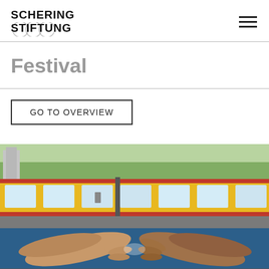SCHERING STIFTUNG
Festival
GO TO OVERVIEW
[Figure (photo): A Berlin S-Bahn train (yellow with red stripe) photographed from an elevated angle, with a large mural of two hands nearly touching (reminiscent of Michelangelo's Creation of Adam) painted on the wall below the train tracks. Green trees and urban buildings visible in the background.]